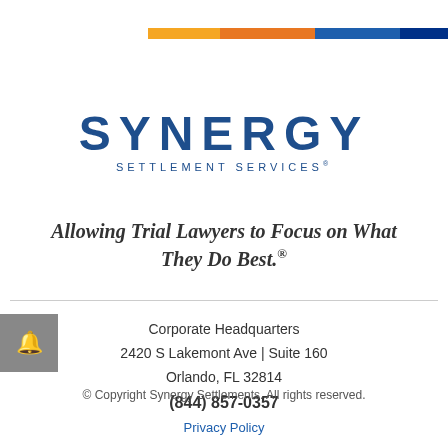[Figure (logo): Synergy Settlement Services logo with color bar (gold, orange, blue, navy) and blue text]
Allowing Trial Lawyers to Focus on What They Do Best.®
Corporate Headquarters
2420 S Lakemont Ave | Suite 160
Orlando, FL 32814
(844) 857-0357
© Copyright Synergy Settlements. All rights reserved.
Privacy Policy